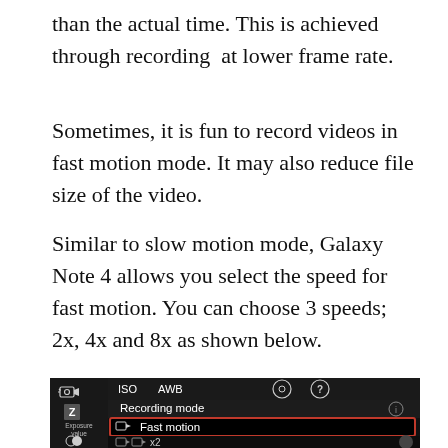than the actual time. This is achieved through recording  at lower frame rate.
Sometimes, it is fun to record videos in fast motion mode. It may also reduce file size of the video.
Similar to slow motion mode, Galaxy Note 4 allows you select the speed for fast motion. You can choose 3 speeds; 2x, 4x and 8x as shown below.
[Figure (screenshot): Samsung Galaxy Note 4 camera app showing Recording mode menu with Fast motion option selected (highlighted in red border) and speed options including x2 visible. Left panel shows camera icon, Exposure value and HDR options. Top bar shows ISO, AWB controls and help icon.]